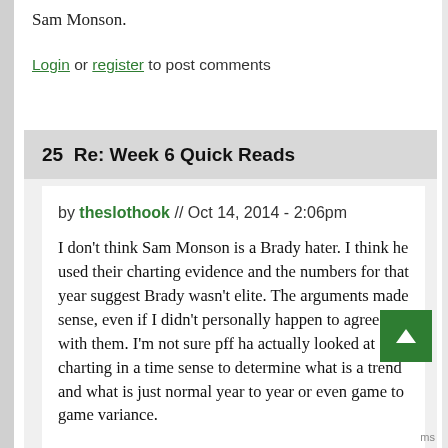Sam Monson.
Login or register to post comments
25  Re: Week 6 Quick Reads
by theslothook // Oct 14, 2014 - 2:06pm
I don't think Sam Monson is a Brady hater. I think he used their charting evidence and the numbers for that year suggest Brady wasn't elite. The arguments made sense, even if I didn't personally happen to agree with them. I'm not sure pff ha actually looked at charting in a time sense to determine what is a trend and what is just normal year to year or even game to game variance.